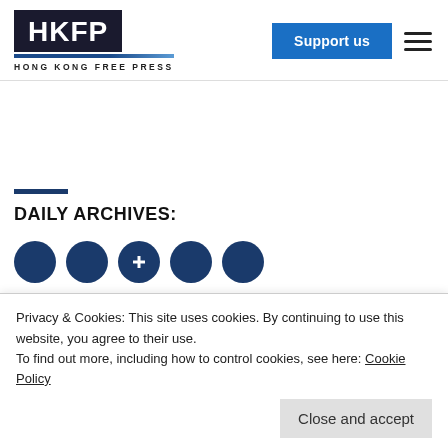HKFP HONG KONG FREE PRESS | Support us
DAILY ARCHIVES:
Privacy & Cookies: This site uses cookies. By continuing to use this website, you agree to their use.
To find out more, including how to control cookies, see here: Cookie Policy
Close and accept